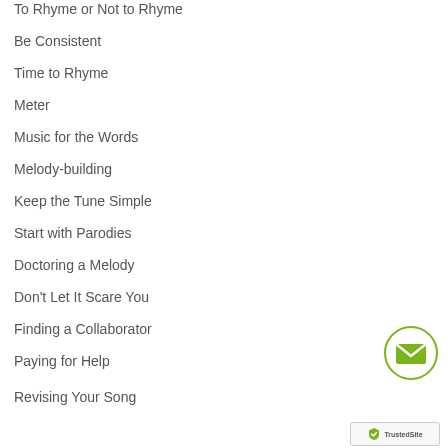To Rhyme or Not to Rhyme
Be Consistent
Time to Rhyme
Meter
Music for the Words
Melody-building
Keep the Tune Simple
Start with Parodies
Doctoring a Melody
Don't Let It Scare You
Finding a Collaborator
Paying for Help
Revising Your Song
[Figure (other): Green circular email/contact button with envelope icon]
[Figure (other): TrustedSite badge at bottom right corner]